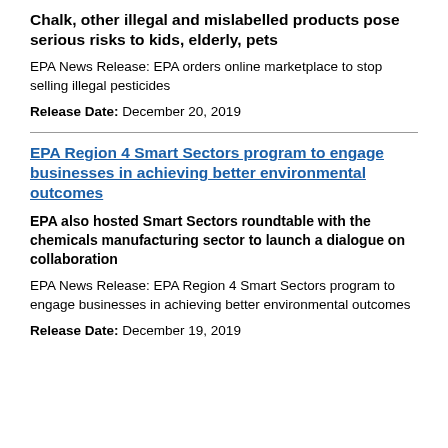Chalk, other illegal and mislabelled products pose serious risks to kids, elderly, pets
EPA News Release: EPA orders online marketplace to stop selling illegal pesticides
Release Date: December 20, 2019
EPA Region 4 Smart Sectors program to engage businesses in achieving better environmental outcomes
EPA also hosted Smart Sectors roundtable with the chemicals manufacturing sector to launch a dialogue on collaboration
EPA News Release: EPA Region 4 Smart Sectors program to engage businesses in achieving better environmental outcomes
Release Date: December 19, 2019